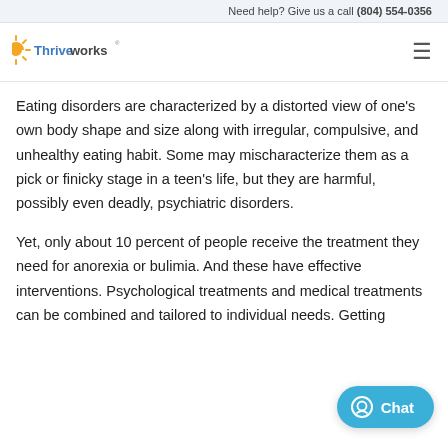Need help? Give us a call (804) 554-0356
[Figure (logo): Thriveworks logo with sun-ray icon and brand name]
Eating disorders are characterized by a distorted view of one's own body shape and size along with irregular, compulsive, and unhealthy eating habit. Some may mischaracterize them as a pick or finicky stage in a teen's life, but they are harmful, possibly even deadly, psychiatric disorders.
Yet, only about 10 percent of people receive the treatment they need for anorexia or bulimia. And these have effective interventions. Psychological treatments and medical treatments can be combined and tailored to individual needs. Getting